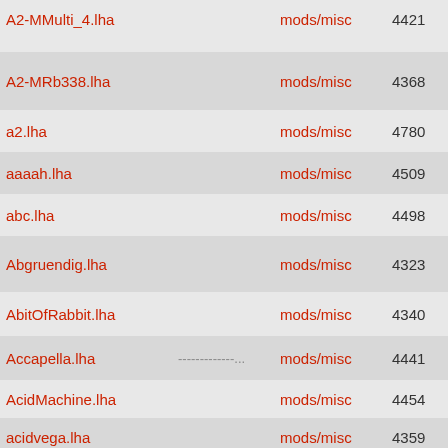| Filename | Desc | Path | Num | Size | Date |
| --- | --- | --- | --- | --- | --- |
| A2-MMulti_4.lha |  | mods/misc | 4421 | 2.4M | 1999-0 |
| A2-MRb338.lha |  | mods/misc | 4368 | 30K | 1999-0 |
| a2.lha |  | mods/misc | 4780 | 58K | 1992-0 |
| aaaah.lha |  | mods/misc | 4509 | 1.2M | 1998-0 |
| abc.lha |  | mods/misc | 4498 | 157K | 1996-0 |
| Abgruendig.lha |  | mods/misc | 4323 | 199K | 2000-0 |
| AbitOfRabbit.lha |  | mods/misc | 4340 | 42K | 1995-0 |
| Accapella.lha | -------------... | mods/misc | 4441 | 177K | 1996-0 |
| AcidMachine.lha |  | mods/misc | 4454 | 48K | 1994-0 |
| acidvega.lha |  | mods/misc | 4359 | 177K | 1994-1 |
| ADELINE.lha |  | mods/misc | 4392 | 27K | 1993-0 |